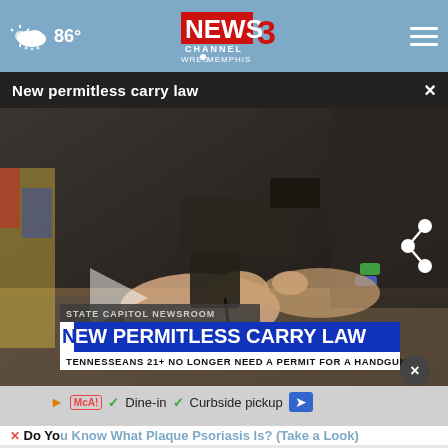86°  NEWS CHANNEL 3 WREG MEMPHIS
New permitless carry law  ×
[Figure (screenshot): Video thumbnail showing hands holding a handgun over a counter, with lower-thirds overlay reading STATE CAPITOL NEWSROOM / NEW PERMITLESS CARRY LAW / TENNESSEANS 21+ NO LONGER NEED A PERMIT FOR A HANDGUN. A play button and share icon are overlaid on the video.]
Dine-in  ✓  Curbside pickup
Do You Know What Plaque Psoriasis Is? (Take a Look)